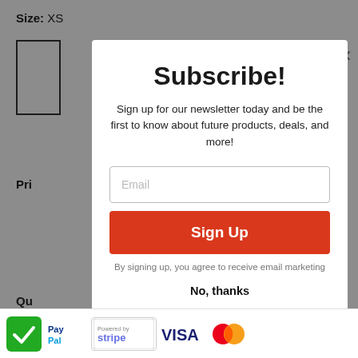Size: XS
Pri
Qu
Subscribe!
Sign up for our newsletter today and be the first to know about future products, deals, and more!
Email
Sign Up
By signing up, you agree to receive email marketing
No, thanks